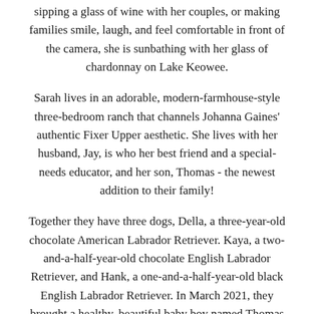sipping a glass of wine with her couples, or making families smile, laugh, and feel comfortable in front of the camera, she is sunbathing with her glass of chardonnay on Lake Keowee.
Sarah lives in an adorable, modern-farmhouse-style three-bedroom ranch that channels Johanna Gaines' authentic Fixer Upper aesthetic. She lives with her husband, Jay, is who her best friend and a special-needs educator, and her son, Thomas - the newest addition to their family!
Together they have three dogs, Della, a three-year-old chocolate American Labrador Retriever. Kaya, a two-and-a-half-year-old chocolate English Labrador Retriever, and Hank, a one-and-a-half-year-old black English Labrador Retriever. In March 2021, they brought a healthy, beautiful baby boy named Thomas into the world. Sarah's idea of a relaxing evening at home is chilling on her tiny couch with a hot tea and all three of the 65-90 lb dogs dogpiling on top of her while watching her favorite show, the Office. Sarah's love for